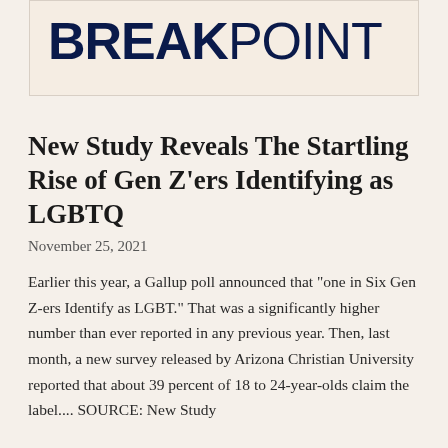[Figure (logo): BreakPoint logo with bold dark navy text reading BREAKPOINT]
New Study Reveals The Startling Rise of Gen Z'ers Identifying as LGBTQ
November 25, 2021
Earlier this year, a Gallup poll announced that "one in Six Gen Z-ers Identify as LGBT." That was a significantly higher number than ever reported in any previous year. Then, last month, a new survey released by Arizona Christian University reported that about 39 percent of 18 to 24-year-olds claim the label.... SOURCE: New Study